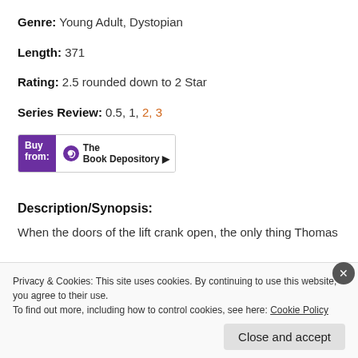Genre: Young Adult, Dystopian
Length: 371
Rating: 2.5 rounded down to 2 Star
Series Review: 0.5, 1, 2, 3
[Figure (other): Buy from: The Book Depository button]
Description/Synopsis:
When the doors of the lift crank open, the only thing Thomas
Privacy & Cookies: This site uses cookies. By continuing to use this website, you agree to their use. To find out more, including how to control cookies, see here: Cookie Policy
Close and accept